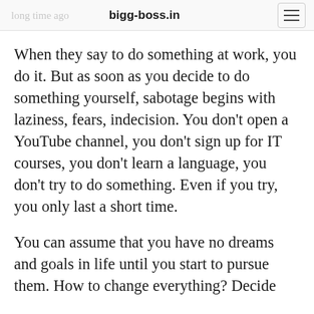bigg-boss.in
When they say to do something at work, you do it. But as soon as you decide to do something yourself, sabotage begins with laziness, fears, indecision. You don't open a YouTube channel, you don't sign up for IT courses, you don't learn a language, you don't try to do something. Even if you try, you only last a short time.
You can assume that you have no dreams and goals in life until you start to pursue them. How to change everything? Decide